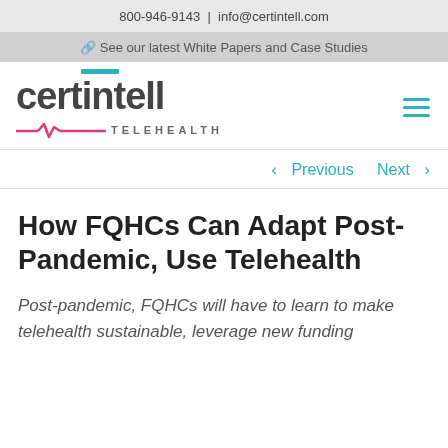800-946-9143  |  info@certintell.com
🔗 See our latest White Papers and Case Studies
[Figure (logo): Certintell Telehealth logo with teal bar over 'n', pink heartbeat line, and hamburger menu icon]
< Previous   Next >
How FQHCs Can Adapt Post-Pandemic, Use Telehealth
Post-pandemic, FQHCs will have to learn to make telehealth sustainable, leverage new funding